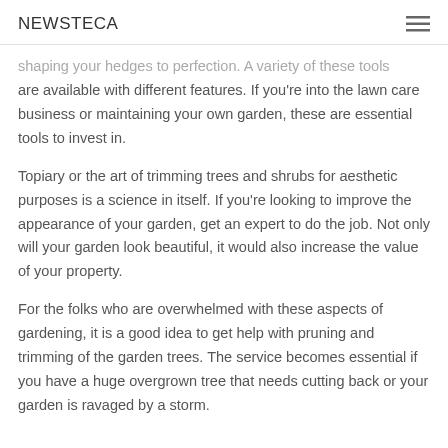NEWSTECA
shaping your hedges to perfection. A variety of these tools are available with different features. If you're into the lawn care business or maintaining your own garden, these are essential tools to invest in.
Topiary or the art of trimming trees and shrubs for aesthetic purposes is a science in itself. If you're looking to improve the appearance of your garden, get an expert to do the job. Not only will your garden look beautiful, it would also increase the value of your property.
For the folks who are overwhelmed with these aspects of gardening, it is a good idea to get help with pruning and trimming of the garden trees. The service becomes essential if you have a huge overgrown tree that needs cutting back or your garden is ravaged by a storm.